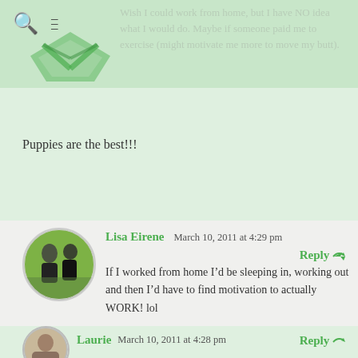Wish I could work from home, but I have NO idea what I would do. Maybe if someone paid me to exercise (might motivate me more to move my butt).
Puppies are the best!!!
[Figure (photo): Circular avatar photo of Lisa Eirene showing two cyclists/runners at a race]
Lisa Eirene   March 10, 2011 at 4:29 pm   Reply
If I worked from home I’d be sleeping in, working out and then I’d have to find motivation to actually WORK! lol
[Figure (photo): Circular avatar photo of Laurie]
Laurie   March 10, 2011 at 4:28 pm   Reply